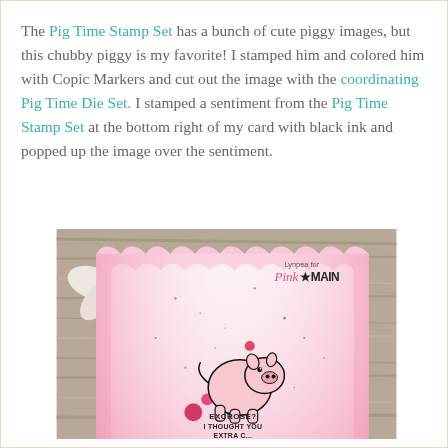The Pig Time Stamp Set has a bunch of cute piggy images, but this chubby piggy is my favorite! I stamped him and colored him with Copic Markers and cut out the image with the coordinating Pig Time Die Set. I stamped a sentiment from the Pig Time Stamp Set at the bottom right of my card with black ink and popped up the image over the sentiment.
[Figure (photo): A handmade craft card featuring a cute cartoon pig image on a pink and white scalloped background with glitter/sequin embellishments. The card has text reading 'EXCROSE? I THOUGHT YOU EXTRA C...' at the bottom. A white flower and wooden surface are visible in the background. Watermark reads 'Lynpea for Pink & Main'.]